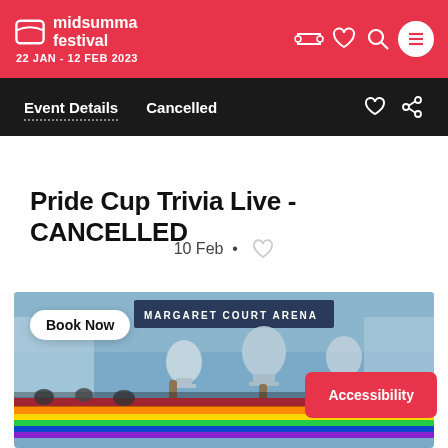midsumma festival 22 JAN - 12 FEB 2023
Event Details   Cancelled
Pride Cup Trivia Live - CANCELLED
10 Feb •
[Figure (photo): People lifting trophies at Margaret Court Arena with a rainbow flag banner visible, crowd in background with stadium seating. A 'Book Now' button overlay in top left and 'Accessibility' button overlay in bottom right.]